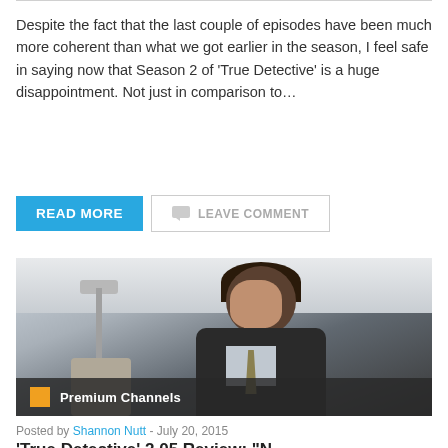Despite the fact that the last couple of episodes have been much more coherent than what we got earlier in the season, I feel safe in saying now that Season 2 of ‘True Detective’ is a huge disappointment. Not just in comparison to…
READ MORE   LEAVE COMMENT
[Figure (photo): A man in a dark suit with slicked-back hair standing in an interior setting. An overlay bar at the bottom reads 'Premium Channels' with an orange square icon.]
Premium Channels
Posted by Shannon Nutt - July 20, 2015
'True Detective' 2.05 Review: “N...